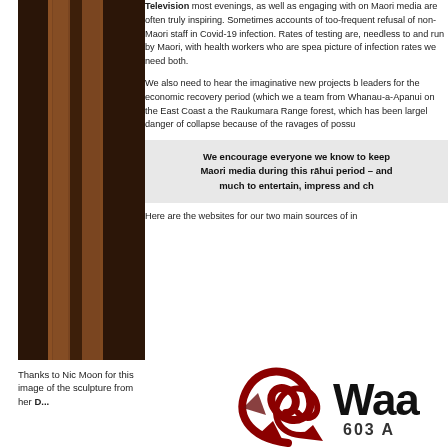[Figure (photo): Brown wooden sculpture or post, close-up photograph against dark background]
Thanks to Nic Moon for this image of the sculpture from her
Television most evenings, as well as engaging with on Maori media are often truly inspiring. Sometimes accounts of too-frequent refusal of non-Maori staff in Covid-19 infection. Rates of testing are, needless to and run by Maori, with health workers who are spea picture of infection rates we need both.
We also need to hear the imaginative new projects b leaders for the economic recovery period (which we a team from Whanau-a-Apanui on the East Coast a the Raukumara Range forest, which has been largel danger of collapse because of the ravages of possu
We encourage everyone we know to keep Maori media during this rāhui period – and much to entertain, impress and ch
Here are the websites for our two main sources of i
[Figure (logo): Waa logo with Maori koru design in dark red/maroon and text '603 A']